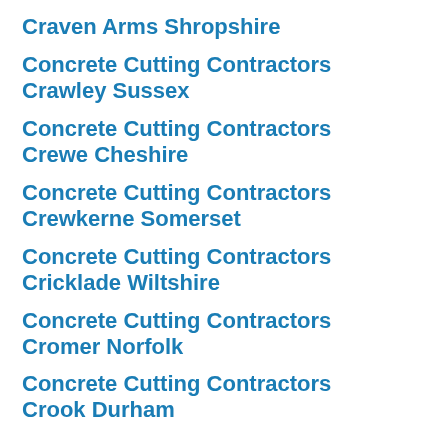Craven Arms Shropshire
Concrete Cutting Contractors Crawley Sussex
Concrete Cutting Contractors Crewe Cheshire
Concrete Cutting Contractors Crewkerne Somerset
Concrete Cutting Contractors Cricklade Wiltshire
Concrete Cutting Contractors Cromer Norfolk
Concrete Cutting Contractors Crook Durham